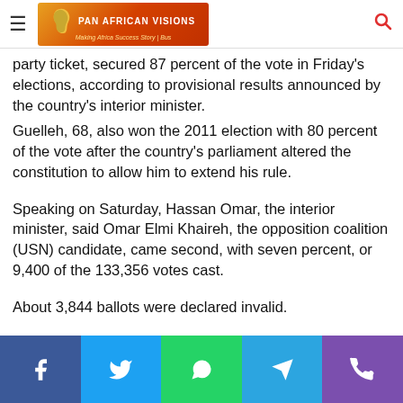Pan African Visions — Making Africa Success Story (logo/nav bar)
party ticket, secured 87 percent of the vote in Friday's elections, according to provisional results announced by the country's interior minister.
Guelleh, 68, also won the 2011 election with 80 percent of the vote after the country's parliament altered the constitution to allow him to extend his rule.
Speaking on Saturday, Hassan Omar, the interior minister, said Omar Elmi Khaireh, the opposition coalition (USN) candidate, came second, with seven percent, or 9,400 of the 133,356 votes cast.
About 3,844 ballots were declared invalid.
Social share bar: Facebook, Twitter, WhatsApp, Telegram, Phone